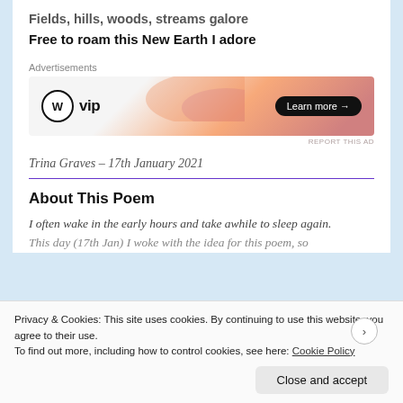Fields, hills, woods, streams galore
Free to roam this New Earth I adore
[Figure (other): WordPress VIP advertisement banner with gradient orange/pink background, WP VIP logo on the left and a 'Learn more →' dark pill button on the right]
Trina Graves – 17th January 2021
About This Poem
I often wake in the early hours and take awhile to sleep again. This day (17th Jan) I woke with the idea for this poem, so
Privacy & Cookies: This site uses cookies. By continuing to use this website, you agree to their use.
To find out more, including how to control cookies, see here: Cookie Policy